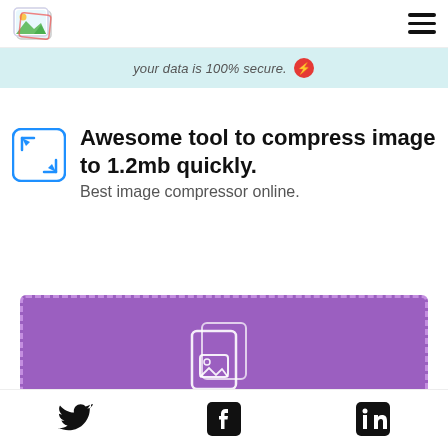[Figure (logo): Image/photo tool logo — colorful landscape icon]
your data is 100% secure.
Awesome tool to compress image to 1.2mb quickly.
Best image compressor online.
[Figure (illustration): Purple upload drop zone with dashed border and file/image icon]
[Figure (illustration): Social media icons: Twitter, Facebook, LinkedIn]